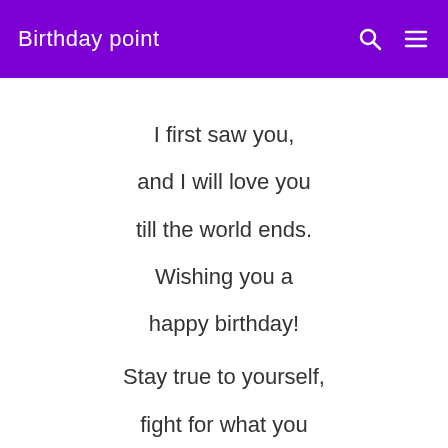Birthday point
I first saw you,
and I will love you
till the world ends.
Wishing you a
happy birthday!

Stay true to yourself,
fight for what you